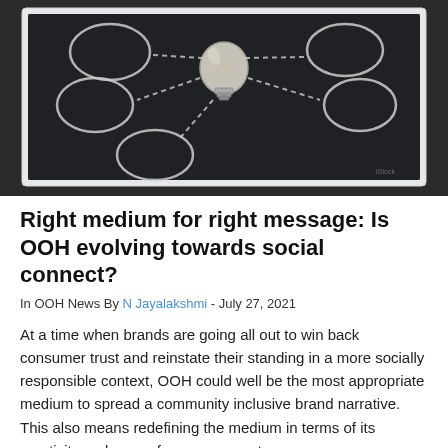[Figure (photo): A chalkboard with a light bulb placed in the center and several chalk-drawn circles and dash lines radiating outward suggesting a mind map or idea concept.]
Right medium for right message: Is OOH evolving towards social connect?
In OOH News By N Jayalakshmi - July 27, 2021
At a time when brands are going all out to win back consumer trust and reinstate their standing in a more socially responsible context, OOH could well be the most appropriate medium to spread a community inclusive brand narrative. This also means redefining the medium in terms of its creativity and scope for engagement.